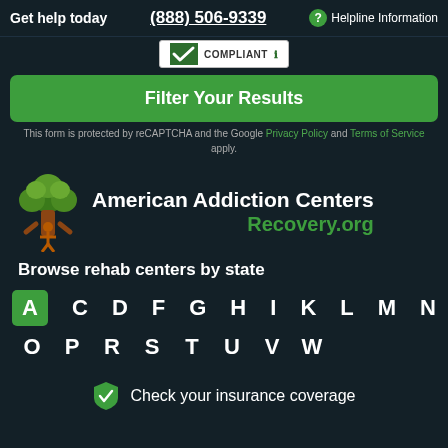Get help today   (888) 506-9339   ? Helpline Information
[Figure (logo): HIPAA Compliant badge with checkmark]
Filter Your Results
This form is protected by reCAPTCHA and the Google Privacy Policy and Terms of Service apply.
[Figure (logo): American Addiction Centers Recovery.org logo with tree icon]
Browse rehab centers by state
A C D F G H I K L M N O P R S T U V W
Check your insurance coverage